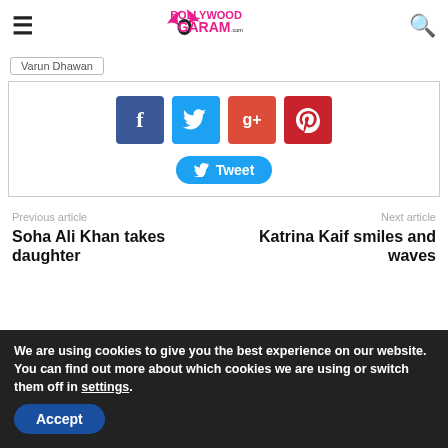Bollywood Garam .com
Varun Dhawan
[Figure (infographic): Social share buttons: Facebook (blue), Twitter (light blue), Google+ (orange-red), Pinterest (red), and a Tweet button in cyan-blue]
Previous article
Next article
Soha Ali Khan takes daughter
Katrina Kaif smiles and waves
We are using cookies to give you the best experience on our website.
You can find out more about which cookies we are using or switch them off in settings.
Accept